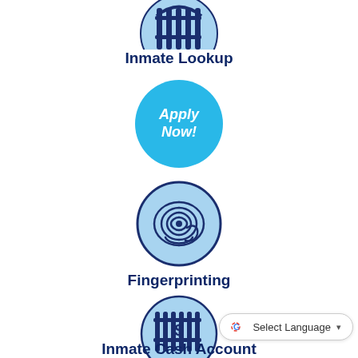[Figure (illustration): Partial view of a dark navy blue jail/prison bars icon on a light blue circular background, cropped at top]
Inmate Lookup
[Figure (illustration): Bright cyan/sky blue circle button with white bold italic text reading 'Apply Now!']
[Figure (illustration): Light blue circle with dark navy fingerprint icon]
Fingerprinting
[Figure (illustration): Light blue circle with dark navy jail bars and dollar sign icon]
Inmate Cash Account